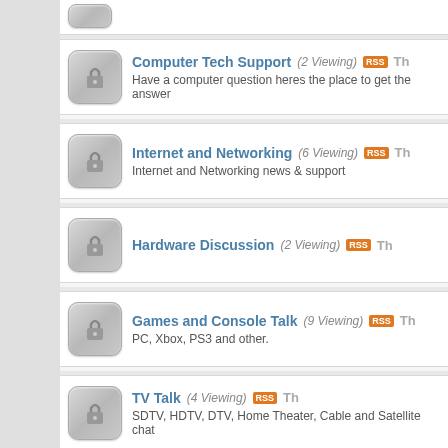Computer Tech Support (2 Viewing) — Have a computer question heres the place to get the answer
Internet and Networking (6 Viewing) — Internet and Networking news & support
Hardware Discussion (2 Viewing)
Games and Console Talk (9 Viewing) — PC, Xbox, PS3 and other.
TV Talk (4 Viewing) — SDTV, HDTV, DTV, Home Theater, Cable and Satellite chat
Music